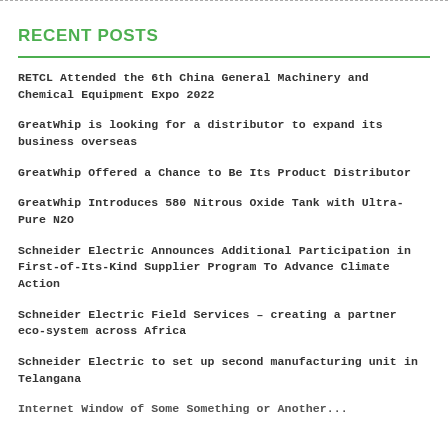RECENT POSTS
RETCL Attended the 6th China General Machinery and Chemical Equipment Expo 2022
GreatWhip is looking for a distributor to expand its business overseas
GreatWhip Offered a Chance to Be Its Product Distributor
GreatWhip Introduces 580 Nitrous Oxide Tank with Ultra-Pure N2O
Schneider Electric Announces Additional Participation in First-of-Its-Kind Supplier Program To Advance Climate Action
Schneider Electric Field Services – creating a partner eco-system across Africa
Schneider Electric to set up second manufacturing unit in Telangana
Internet Window of Some Something or Another...